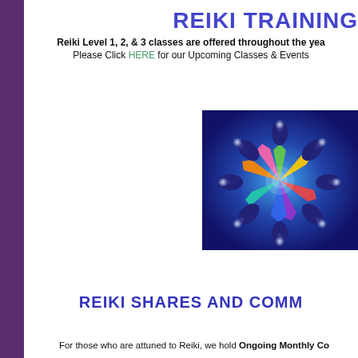REIKI TRAINING
Reiki Level 1, 2, & 3 classes are offered throughout the year
Please Click HERE for our Upcoming Classes & Events
[Figure (illustration): Colorful hands arranged in a circle on a blue glowing background, representing community and healing energy]
REIKI SHARES AND COMM
For those who are attuned to Reiki, we hold Ongoing Monthly Co